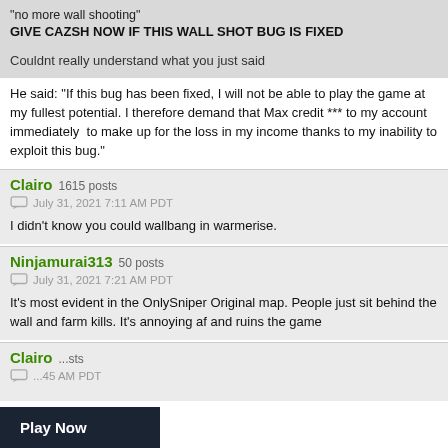"no more wall shooting"
GIVE CAZSH NOW IF THIS WALL SHOT BUG IS FIXED
Couldnt really understand what you just said
He said: "If this bug has been fixed, I will not be able to play the game at my fullest potential. I therefore demand that Max credit *** to my account immediately  to make up for the loss in my income thanks to my inability to exploit this bug."
Clairo  1615 posts
July 31, 2021 7:11 AM PDT
I didn't know you could wallbang in warmerise.
Ninjamurai313  50 posts
July 31, 2021 7:21 AM PDT
It's most evident in the OnlySniper Original map. People just sit behind the wall and farm kills. It's annoying af and ruins the game
Clairo  ...sts
...45 AM PDT